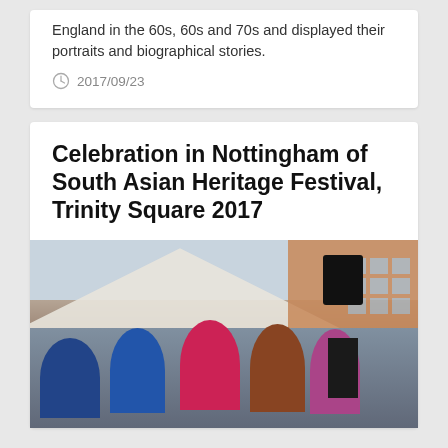England in the 60s, 60s and 70s and displayed their portraits and biographical stories.
2017/09/23
Celebration in Nottingham of South Asian Heritage Festival, Trinity Square 2017
[Figure (photo): Outdoor festival scene at Trinity Square 2017. People standing under a large white tent/marquee. Buildings visible in background. Several women on a stage or platform, with a speaker/PA system visible on the right.]